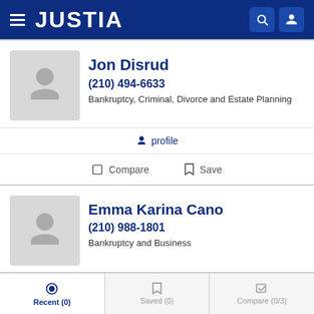[Figure (screenshot): Justia website header with logo, hamburger menu, search and user icons on dark blue background]
Jon Disrud
(210) 494-6633
Bankruptcy, Criminal, Divorce and Estate Planning
profile
Compare
Save
Emma Karina Cano
(210) 988-1801
Bankruptcy and Business
website
profile
email
Recent (0)   Saved (0)   Compare (0/3)